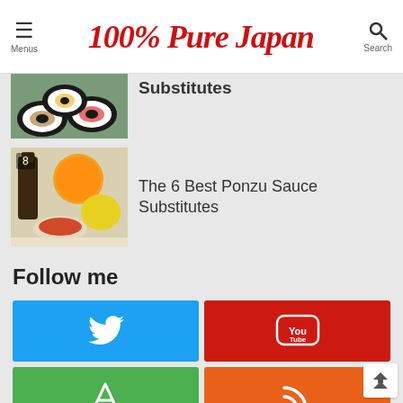Menus | 100% Pure Japan | Search
[Figure (photo): Partially visible sushi rolls (maki) photo, cropped at top]
[Figure (photo): Photo of ponzu sauce in a small dish, citrus fruits (orange and yellow), and a dark bottle, with number badge '8']
The 6 Best Ponzu Sauce Substitutes
Follow me
[Figure (infographic): Social media follow buttons: Twitter (blue), YouTube (red), Feedly (green), RSS (orange)]